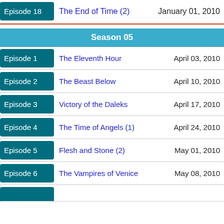| Episode | Title | Air Date |
| --- | --- | --- |
| Episode 18 | The End of Time (2) | January 01, 2010 |
| Season 05 |  |  |
| Episode 1 | The Eleventh Hour | April 03, 2010 |
| Episode 2 | The Beast Below | April 10, 2010 |
| Episode 3 | Victory of the Daleks | April 17, 2010 |
| Episode 4 | The Time of Angels (1) | April 24, 2010 |
| Episode 5 | Flesh and Stone (2) | May 01, 2010 |
| Episode 6 | The Vampires of Venice | May 08, 2010 |